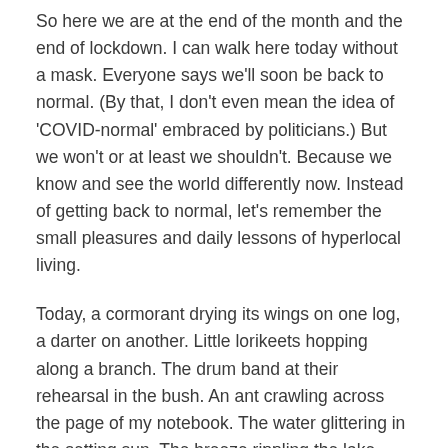So here we are at the end of the month and the end of lockdown. I can walk here today without a mask. Everyone says we'll soon be back to normal. (By that, I don't even mean the idea of 'COVID-normal' embraced by politicians.) But we won't or at least we shouldn't. Because we know and see the world differently now. Instead of getting back to normal, let's remember the small pleasures and daily lessons of hyperlocal living.
Today, a cormorant drying its wings on one log, a darter on another. Little lorikeets hopping along a branch. The drum band at their rehearsal in the bush. An ant crawling across the page of my notebook. The water glittering in the setting sun. The breeze rippling the lake. Corella cries. Spring warmth.
Peace.